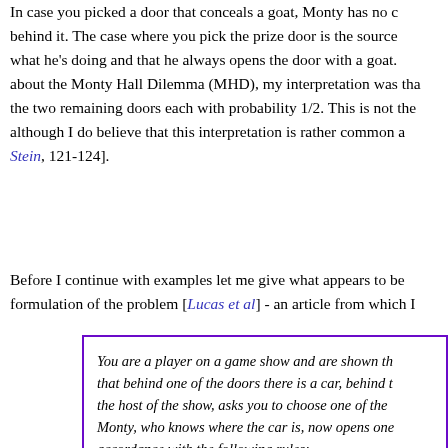In case you picked a door that conceals a goat, Monty has no c... behind it. The case where you pick the prize door is the source... what he's doing and that he always opens the door with a goat.... about the Monty Hall Dilemma (MHD), my interpretation was tha... the two remaining doors each with probability 1/2. This is not th... although I do believe that this interpretation is rather common a... Stein, 121-124].
Before I continue with examples let me give what appears to be... formulation of the problem [Lucas et al] - an article from which I...
You are a player on a game show and are shown th... that behind one of the doors there is a car, behind t... the host of the show, asks you to choose one of the... Monty, who knows where the car is, now opens one... accordance with the following rules:
1. Monty always opens the door that conceals a...
2. Monty never opens the door you initially chos...
3. If Monty can open more than one door withou... then he opens a random door among the ava...